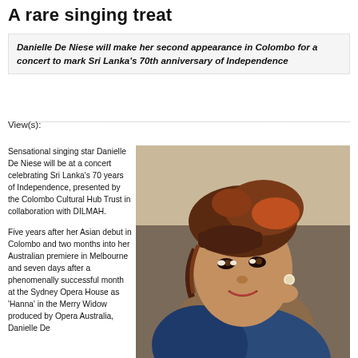A rare singing treat
Danielle De Niese will make her second appearance in Colombo for a concert to mark Sri Lanka's 70th anniversary of Independence
View(s):
Sensational singing star Danielle De Niese will be at a concert celebrating Sri Lanka's 70 years of Independence, presented by the Colombo Cultural Hub Trust in collaboration with DILMAH.
Five years after her Asian debut in Colombo and two months into her Australian premiere in Melbourne and seven days after a phenomenally successful month at the Sydney Opera House as 'Hanna' in the Merry Widow produced by Opera Australia, Danielle De
[Figure (photo): Portrait photo of Danielle De Niese, a woman with reddish-brown hair, smiling, wearing a blue jacket, close-up shot.]